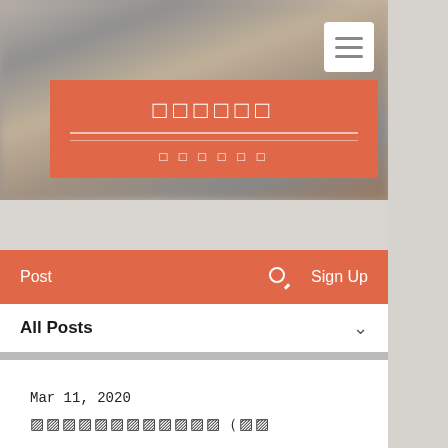[Figure (screenshot): Website screenshot showing a blog page with a hero image of a blurred library/bookshelf background, a salmon/coral colored title banner with Japanese characters and decorative lines, a hamburger menu button in the top right, a coral navigation bar with Post, search icon, and Sign Up links, an All Posts dropdown section, and a blog post dated Mar 11, 2020 with Japanese title text.]
Post
Sign Up
All Posts
Mar 11, 2020